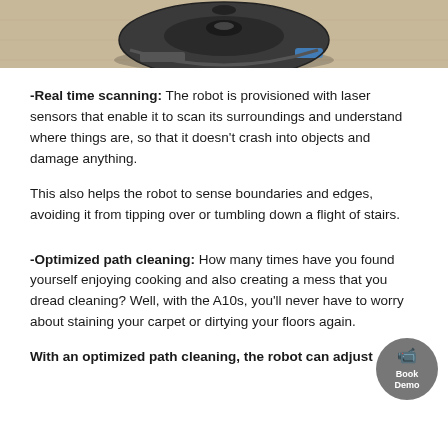[Figure (photo): Robot vacuum cleaner (dark, circular) on a wooden floor, photographed from above/front angle. Only the bottom portion of the robot and floor visible.]
-Real time scanning: The robot is provisioned with laser sensors that enable it to scan its surroundings and understand where things are, so that it doesn't crash into objects and damage anything.
This also helps the robot to sense boundaries and edges, avoiding it from tipping over or tumbling down a flight of stairs.
-Optimized path cleaning: How many times have you found yourself enjoying cooking and also creating a mess that you dread cleaning? Well, with the A10s, you'll never have to worry about staining your carpet or dirtying your floors again.
With an optimized path cleaning, the robot can adjust